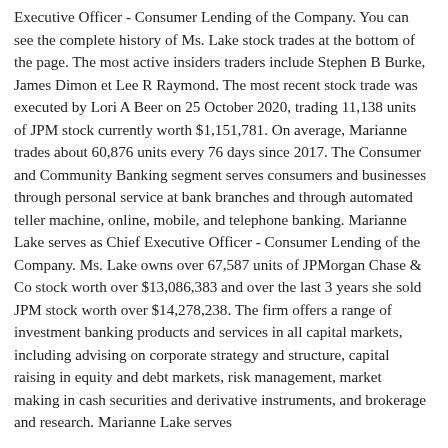Executive Officer - Consumer Lending of the Company. You can see the complete history of Ms. Lake stock trades at the bottom of the page. The most active insiders traders include Stephen B Burke, James Dimon et Lee R Raymond. The most recent stock trade was executed by Lori A Beer on 25 October 2020, trading 11,138 units of JPM stock currently worth $1,151,781. On average, Marianne trades about 60,876 units every 76 days since 2017. The Consumer and Community Banking segment serves consumers and businesses through personal service at bank branches and through automated teller machine, online, mobile, and telephone banking. Marianne Lake serves as Chief Executive Officer - Consumer Lending of the Company. Ms. Lake owns over 67,587 units of JPMorgan Chase & Co stock worth over $13,086,383 and over the last 3 years she sold JPM stock worth over $14,278,238. The firm offers a range of investment banking products and services in all capital markets, including advising on corporate strategy and structure, capital raising in equity and debt markets, risk management, market making in cash securities and derivative instruments, and brokerage and research. Marianne Lake serves